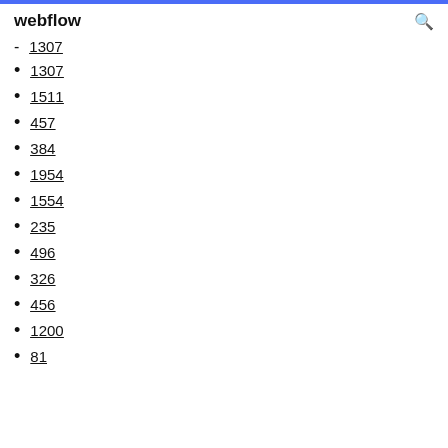webflow
1307 (partial, top cut off)
1307
1511
457
384
1954
1554
235
496
326
456
1200
81